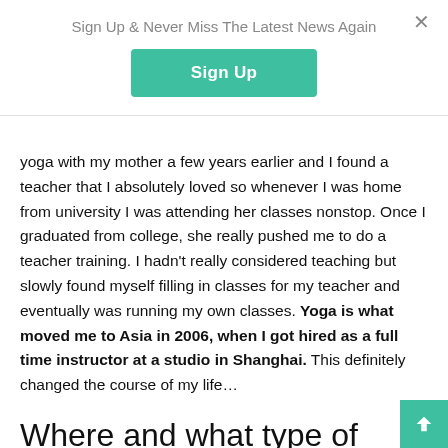Sign Up & Never Miss The Latest News Again
Sign Up
yoga with my mother a few years earlier and I found a teacher that I absolutely loved so whenever I was home from university I was attending her classes nonstop. Once I graduated from college, she really pushed me to do a teacher training. I hadn't really considered teaching but slowly found myself filling in classes for my teacher and eventually was running my own classes. Yoga is what moved me to Asia in 2006, when I got hired as a full time instructor at a studio in Shanghai. This definitely changed the course of my life…
Where and what type of yoga do you teach?